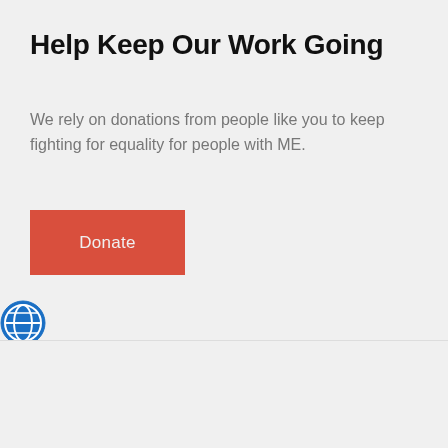Help Keep Our Work Going
We rely on donations from people like you to keep fighting for equality for people with ME.
[Figure (other): Red 'Donate' button]
[Figure (other): Blue globe/help icon circle]
Get Actions Alerts And News Direct To Your Inbox
[Figure (other): Red scroll-to-top button with upward chevron arrow]